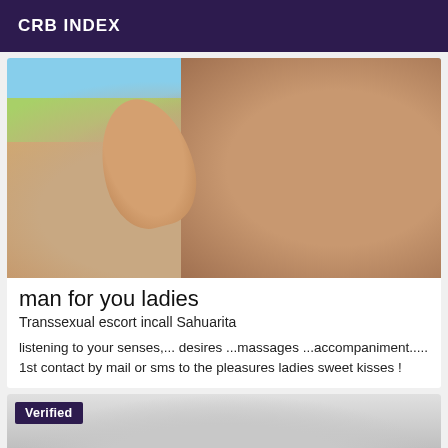CRB INDEX
[Figure (photo): Outdoor photo showing a person giving a thumbs up, torso visible, taken in a sunny outdoor setting with trees and sky in background.]
man for you ladies
Transsexual escort incall Sahuarita
listening to your senses,... desires ...massages ...accompaniment..... 1st contact by mail or sms to the pleasures ladies sweet kisses !
[Figure (photo): Grayscale photo showing a person's torso, partially cropped. A 'Verified' badge overlays the top left corner.]